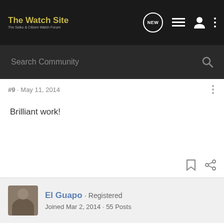The Watch Site · The Seiko & Citizen Watch Forum
Search Community
#9 · May 11, 2014
Brilliant work!
El Guapo · Registered
Joined Mar 2, 2014 · 55 Posts
#10 · May 12, 2014